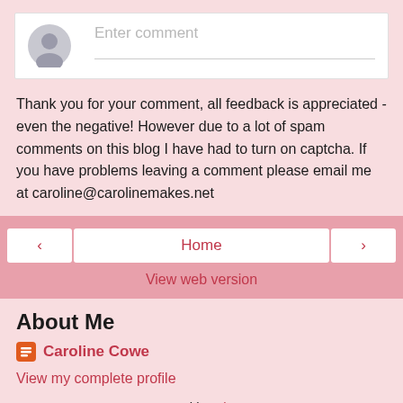[Figure (other): Comment input box with user avatar placeholder and 'Enter comment' placeholder text with underline]
Thank you for your comment, all feedback is appreciated - even the negative! However due to a lot of spam comments on this blog I have had to turn on captcha. If you have problems leaving a comment please email me at caroline@carolinemakes.net
[Figure (other): Navigation bar with left arrow button, Home button, right arrow button, and View web version link]
About Me
Caroline Cowe
View my complete profile
Powered by Blogger.